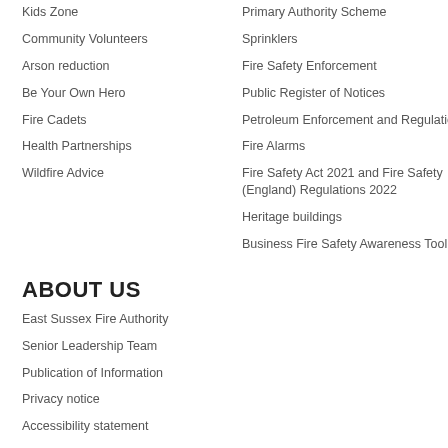Kids Zone
Community Volunteers
Arson reduction
Be Your Own Hero
Fire Cadets
Health Partnerships
Wildfire Advice
Primary Authority Scheme
Sprinklers
Fire Safety Enforcement
Public Register of Notices
Petroleum Enforcement and Regulation
Fire Alarms
Fire Safety Act 2021 and Fire Safety (England) Regulations 2022
Heritage buildings
Business Fire Safety Awareness Tool
ABOUT US
East Sussex Fire Authority
Senior Leadership Team
Publication of Information
Privacy notice
Accessibility statement
Our work